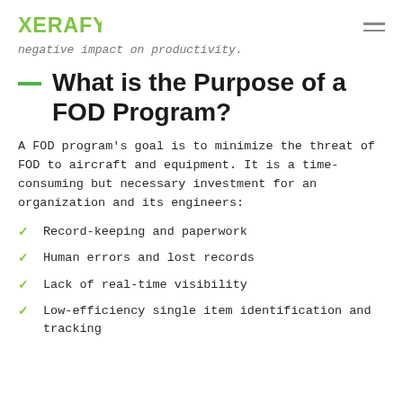XERAFY
negative impact on productivity.
What is the Purpose of a FOD Program?
A FOD program's goal is to minimize the threat of FOD to aircraft and equipment. It is a time-consuming but necessary investment for an organization and its engineers:
Record-keeping and paperwork
Human errors and lost records
Lack of real-time visibility
Low-efficiency single item identification and tracking